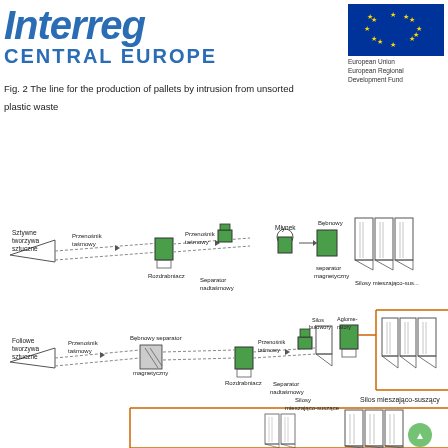[Figure (logo): Interreg Central Europe logo with blue italic text and EU flag badge]
Fig. 2 The line for the production of pallets by intrusion from unsorted plastic waste
[Figure (engineering-diagram): Process flow diagram for production line of pallets by intrusion from unsorted plastic waste, showing two parallel lines (rigid plastics top, foil plastics bottom) with conveyors, shredders, magnetic separators, mills, agglomerators, mixing-drying silos, and bulk silos. Labels in Polish: Sztywne tworzywa sztuczne, Przenośnik taśmowy, Rozdrabniacz, Przenośnik taśmowy, Separator nadtaśmowy, Młynek, Bębnowy separator magnetyczny, Silosy mieszająco-suszące; Foliowe tworzywa sztuczne, Przenośnik taśmowy, Bębnowy separator magnetyczny, Rozdrabniacz, Przenośnik taśmowy, Separator nadtaśmowy, Silos bułowory, Agglomera-tory, Silosy mieszająco-suszące, Silos mieszająco-suszący.]